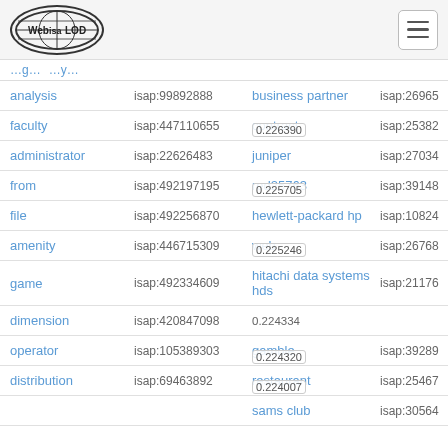[Figure (logo): Web isa LOD logo - oval shape with globe lines and text]
| Term | ISAP ID | Term | ISAP ID |
| --- | --- | --- | --- |
| analysis | isap:99892888 | business partner | isap:26965… |
| faculty | isap:447110655 | contract | isap:25382… |
| administrator | isap:22626483 | juniper | isap:27034… |
| from | isap:492197195 | red25763 | isap:39148… |
| file | isap:492256870 | hewlett-packard hp | isap:10824… |
| amenity | isap:446715309 | web | isap:26768… |
| game | isap:492334609 | hitachi data systems hds | isap:21176… |
| dimension | isap:420847098 |  |  |
| operator | isap:105389303 | gamble | isap:39289… |
| distribution | isap:69463892 | restaurant | isap:25467… |
|  |  | sams club | isap:30564… |